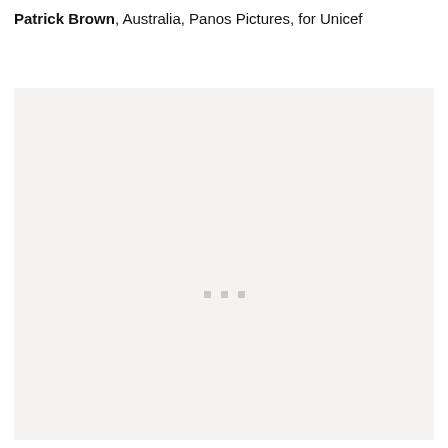Patrick Brown, Australia, Panos Pictures, for Unicef
[Figure (photo): A photo placeholder with a light gray background and three small gray loading indicator dots in the center, indicating an image that failed to load or is loading.]